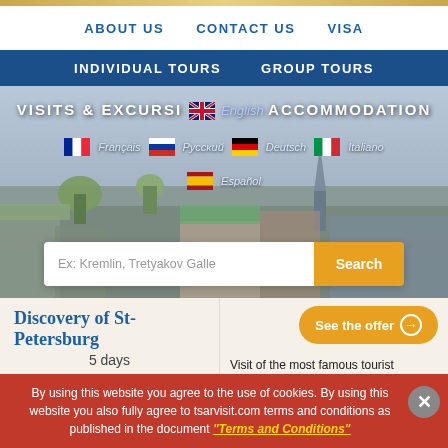ABOUT US   CONTACT US   VISA
INDIVIDUAL TOURS   GROUP TOURS
[Figure (screenshot): Hero image of St. Petersburg city skyline with language selection overlay showing flags for English, Français, Русский, Deutsch, Italiano, Español and headings VISITS & EXCURSIONS and ACCOMMODATION]
Ex: Kremlin, Tretyakov Galle  Search
See the offer →
Discovery of St-Petersburg
5 days
711 €
Visit of the most famous tourist attractions of St. Petersburg Guide + Hotel + Transportation
By using this website you agree to the use of cookies. By using this website you also fully agree to tsarvisit.com terms and conditions as published in the document "Terms and Conditions"